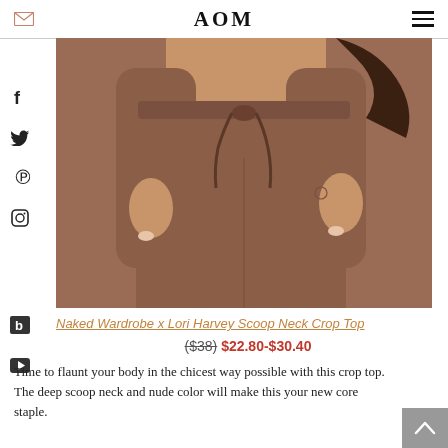AOM
[Figure (photo): Woman wearing a brown/nude crop top and matching drawstring jogger pants, cropped view showing torso and upper legs]
Naked Wardrobe x Lori Harvey Scoop Neck Crop Top
($38) $22.80-$30.40
Time to flaunt your body in the chicest way possible with this crop top. The deep scoop neck and nude color will make this your new core staple.